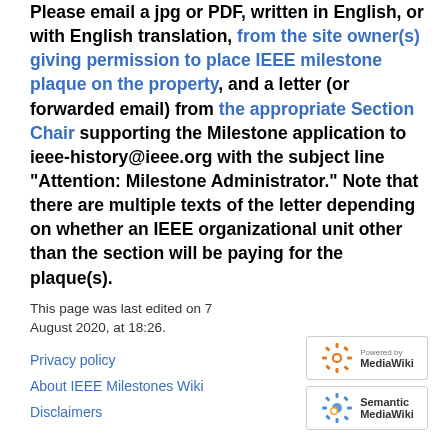Please email a jpg or PDF, written in English, or with English translation, from the site owner(s) giving permission to place IEEE milestone plaque on the property, and a letter (or forwarded email) from the appropriate Section Chair supporting the Milestone application to ieee-history@ieee.org with the subject line "Attention: Milestone Administrator." Note that there are multiple texts of the letter depending on whether an IEEE organizational unit other than the section will be paying for the plaque(s).
This page was last edited on 7 August 2020, at 18:26.
Privacy policy
About IEEE Milestones Wiki
Disclaimers
[Figure (logo): Powered by MediaWiki badge]
[Figure (logo): Semantic MediaWiki badge]